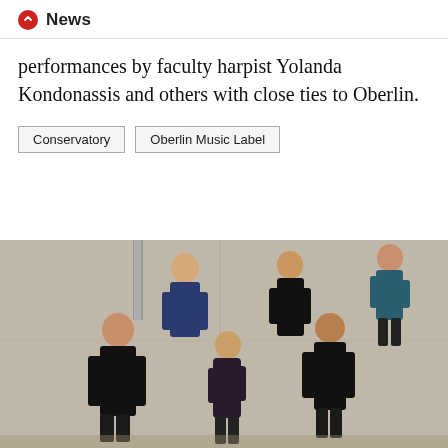News
performances by faculty harpist Yolanda Kondonassis and others with close ties to Oberlin.
Conservatory
Oberlin Music Label
[Figure (photo): Group photo of six musicians posed in a large industrial or concrete interior space. Two men and one woman stand at a higher level leaning against a wall, while two men and one woman stand at floor level. They are dressed mostly in black formal/semi-formal attire.]